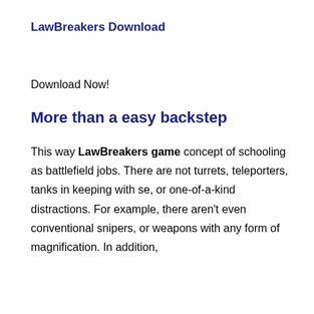LawBreakers Download
Download Now!
More than a easy backstep
This way LawBreakers game concept of schooling as battlefield jobs. There are not turrets, teleporters, tanks in keeping with se, or one-of-a-kind distractions. For example, there aren’t even conventional snipers, or weapons with any form of magnification. In addition,